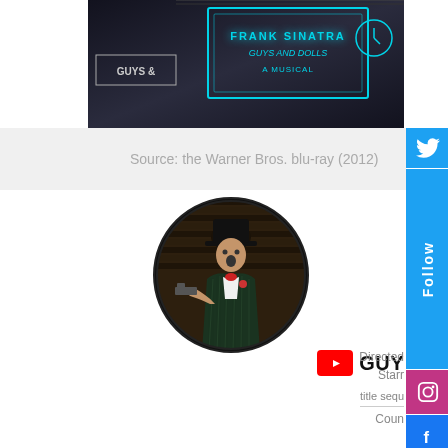[Figure (screenshot): Dark scene still from a film showing neon signs with text including 'GUYS AND DOLLS' in a dark nighttime setting]
Source: the Warner Bros. blu-ray (2012)
[Figure (photo): Circular profile photo of a man in a dark suit and hat, holding a gun, appearing to be a movie still]
title sequ
GUY
Directed
Starr
Cour